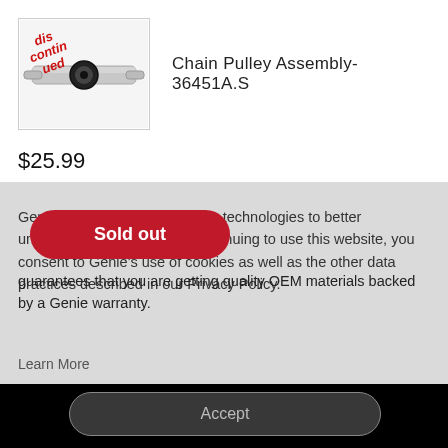[Figure (photo): Chain Pulley Assembly part image with red 'discontinued' stamp overlay]
Chain Pulley Assembly- 36451A.S
$25.99
Sold out
Genie uses cookies and similar technologies to better understand our visitors. By continuing to use this website, you consent to Genie's use of cookies as well as the other data practices described in our Privacy Policy.
guarantees that you are getting quality OEM materials backed by a Genie warranty.
Learn More
Accept